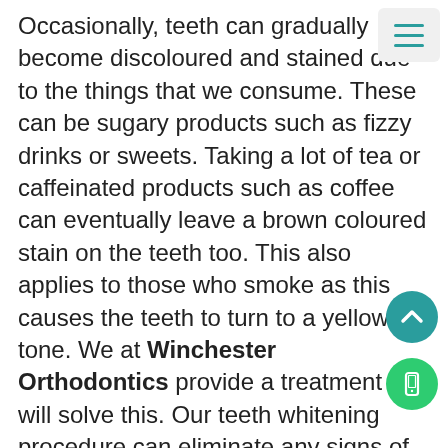Occasionally, teeth can gradually become discoloured and stained due to the things that we consume. These can be sugary products such as fizzy drinks or sweets. Taking a lot of tea or caffeinated products such as coffee can eventually leave a brown coloured stain on the teeth too. This also applies to those who smoke as this causes the teeth to turn to a yellow tone. We at Winchester Orthodontics provide a treatment that will solve this. Our teeth whitening procedure can eliminate any signs of damage done to the teeth due to the products consumed. Therefore, this will enhance the appearance of your teeth and